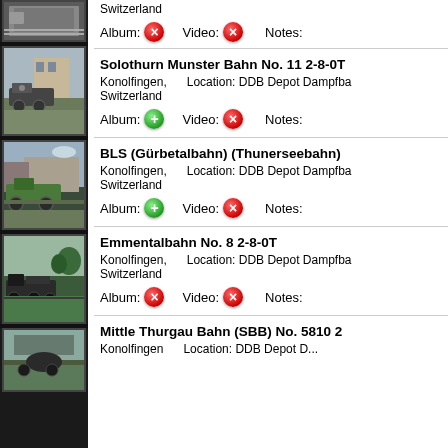Switzerland
Album: [red] Video: [red] Notes:
Solothurn Munster Bahn No. 11 2-8-0T
Konolfingen, Switzerland     Location: DDB Depot Dampfba...
Album: [green] Video: [red] Notes:
BLS (Gürbetalbahn) (Thunerseebahn)
Konolfingen, Switzerland     Location: DDB Depot Dampfba...
Album: [green] Video: [red] Notes:
Emmentalbahn No. 8 2-8-0T
Konolfingen, Switzerland     Location: DDB Depot Dampfba...
Album: [red] Video: [red] Notes:
Mittle Thurgau Bahn (SBB) No. 5810 2...
Konolfingen     Location: DDB Depot D...